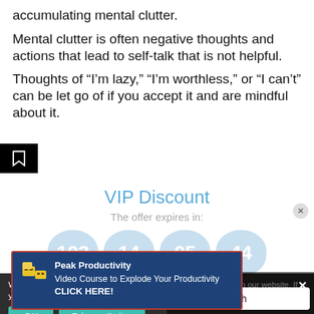accumulating mental clutter.
Mental clutter is often negative thoughts and actions that lead to self-talk that is not helpful.
Thoughts of “I’m lazy,” “I’m worthless,” or “I can’t” can be let go of if you accept it and are mindful about it.
VIP Discount
The offer expires in:
103  14  05  44
Peak Productivity Video Course to Explode Your Productivity CLICK HERE!
We use cookies to ensure that we give you the best experience on our website. If you continue to use this site we will assume that you are happy with it.
OK  Privacy Policy
English